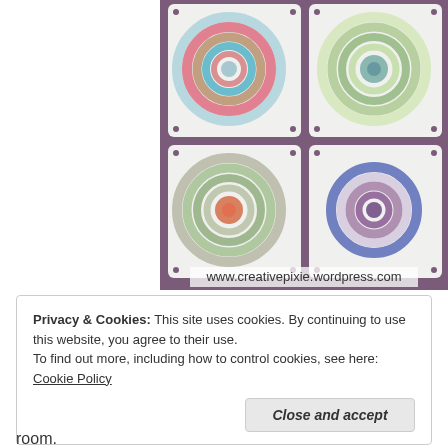[Figure (photo): Four crocheted granny square motifs arranged in a 2x2 grid on a purple background. Top-left: white border with pink, tan, and blue spiral. Top-right: white border with yellow-green heart/spiral pattern. Bottom-left: white border with gray-green and orange spiral. Bottom-right: white border with blue and mauve/purple spiral. Watermark text at bottom reads: www.creativepixie.wordpress.com]
Privacy & Cookies: This site uses cookies. By continuing to use this website, you agree to their use.
To find out more, including how to control cookies, see here: Cookie Policy
room.